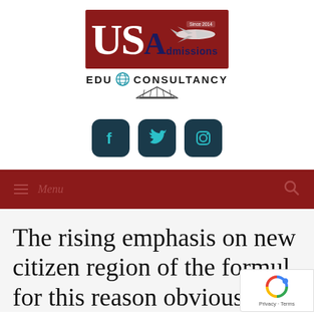[Figure (logo): US Admissions Edu Consultancy logo with red banner, airplane, globe icon and books]
[Figure (infographic): Social media icons: Facebook, Twitter, Instagram in dark teal rounded square buttons]
≡ Menu
The rising emphasis on new citizen region of the formul for this reason obviously